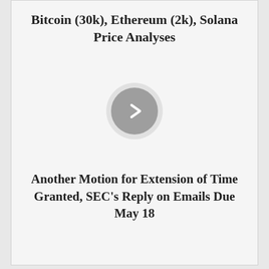Bitcoin (30k), Ethereum (2k), Solana Price Analyses
[Figure (other): Circular play/next button with chevron arrow on grey background]
Another Motion for Extension of Time Granted, SEC's Reply on Emails Due May 18
You may also like
Binance CEO Calls Out 'Bad Players' for Crypto